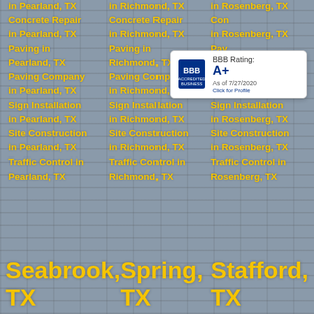[Figure (photo): Background photo of a construction/industrial warehouse or shelving facility, muted gray-blue tones]
in Pearland, TX
in Richmond, TX
in Rosenberg, TX
Concrete Repair in Pearland, TX
Concrete Repair in Richmond, TX
Concrete Repair in Rosenberg, TX
Paving in Pearland, TX
Paving in Richmond, TX
Paving in Rosenberg, TX
Paving Company in Pearland, TX
Paving Company in Richmond, TX
Paving Company in Rosenberg, TX
Sign Installation in Pearland, TX
Sign Installation in Richmond, TX
Sign Installation in Rosenberg, TX
Site Construction in Pearland, TX
Site Construction in Richmond, TX
Site Construction in Rosenberg, TX
Traffic Control in Pearland, TX
Traffic Control in Richmond, TX
Traffic Control in Rosenberg, TX
[Figure (logo): BBB Accredited Business logo with BBB Rating: A+ as of 7/27/2020, Click for Profile]
Seabrook, TX   Spring, TX   Stafford, TX